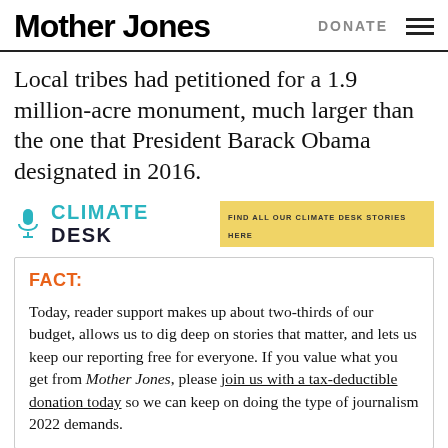Mother Jones | DONATE
Local tribes had petitioned for a 1.9 million-acre monument, much larger than the one that President Barack Obama designated in 2016.
[Figure (logo): Climate Desk logo with microphone icon and yellow banner reading FIND ALL OUR CLIMATE DESK STORIES HERE]
FACT: Today, reader support makes up about two-thirds of our budget, allows us to dig deep on stories that matter, and lets us keep our reporting free for everyone. If you value what you get from Mother Jones, please join us with a tax-deductible donation today so we can keep on doing the type of journalism 2022 demands.